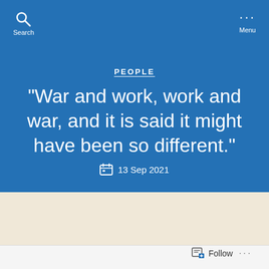Search | Menu
PEOPLE
“War and work, work and war, and it is said it might have been so different.”
13 Sep 2021
Follow ...